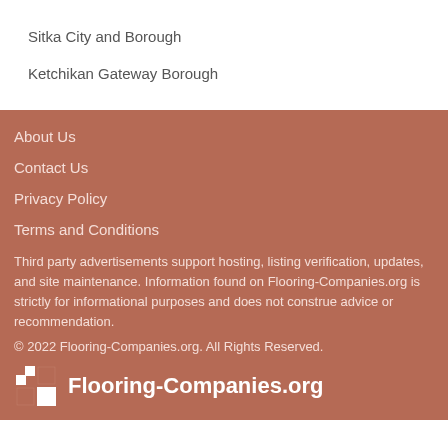Sitka City and Borough
Ketchikan Gateway Borough
About Us
Contact Us
Privacy Policy
Terms and Conditions
Third party advertisements support hosting, listing verification, updates, and site maintenance. Information found on Flooring-Companies.org is strictly for informational purposes and does not construe advice or recommendation.
© 2022 Flooring-Companies.org. All Rights Reserved.
Flooring-Companies.org